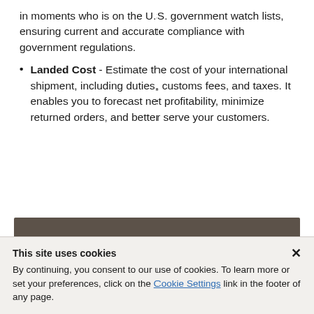in moments who is on the U.S. government watch lists, ensuring current and accurate compliance with government regulations.
Landed Cost - Estimate the cost of your international shipment, including duties, customs fees, and taxes. It enables you to forecast net profitability, minimize returned orders, and better serve your customers.
In This Section +
This site uses cookies
By continuing, you consent to our use of cookies. To learn more or set your preferences, click on the Cookie Settings link in the footer of any page.